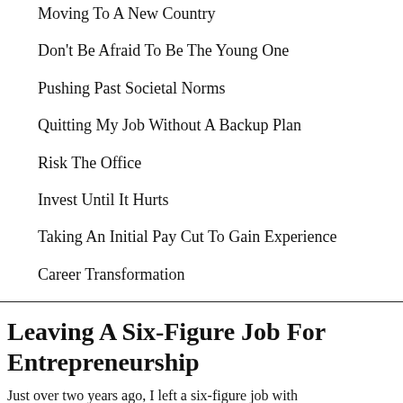Moving To A New Country
Don't Be Afraid To Be The Young One
Pushing Past Societal Norms
Quitting My Job Without A Backup Plan
Risk The Office
Invest Until It Hurts
Taking An Initial Pay Cut To Gain Experience
Career Transformation
Leaving A Six-Figure Job For Entrepreneurship
Just over two years ago, I left a six-figure job with